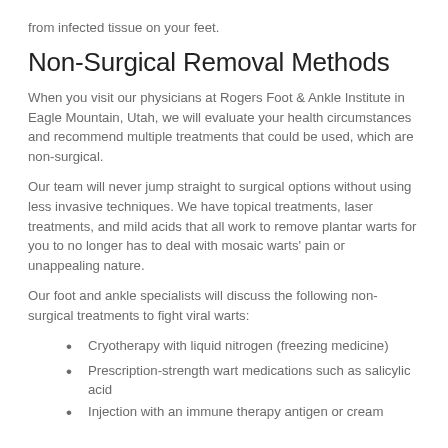from infected tissue on your feet.
Non-Surgical Removal Methods
When you visit our physicians at Rogers Foot & Ankle Institute in Eagle Mountain, Utah, we will evaluate your health circumstances and recommend multiple treatments that could be used, which are non-surgical.
Our team will never jump straight to surgical options without using less invasive techniques. We have topical treatments, laser treatments, and mild acids that all work to remove plantar warts for you to no longer has to deal with mosaic warts' pain or unappealing nature.
Our foot and ankle specialists will discuss the following non-surgical treatments to fight viral warts:
Cryotherapy with liquid nitrogen (freezing medicine)
Prescription-strength wart medications such as salicylic acid
Injection with an immune therapy antigen or cream